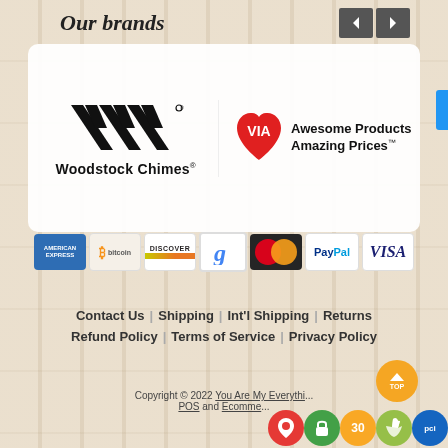Our brands
[Figure (logo): Woodstock Chimes and VIA Awesome Products Amazing Prices brand logos on white card]
[Figure (infographic): Payment method icons: American Express, Bitcoin, Discover, Google, MasterCard, PayPal, Visa]
Contact Us | Shipping | Int'l Shipping | Returns | Refund Policy | Terms of Service | Privacy Policy
Copyright © 2022 You Are My Everythi... POS and Ecomme...